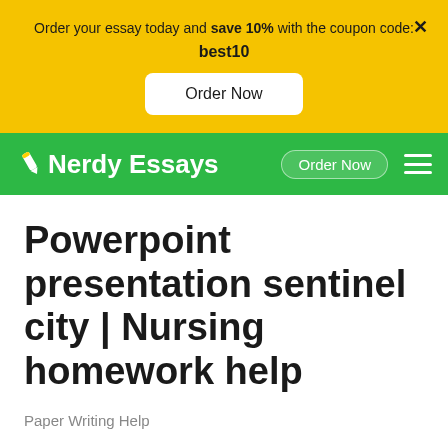Order your essay today and save 10% with the coupon code: best10
Order Now
[Figure (screenshot): Nerdy Essays website navigation bar with green background, pencil logo, Order Now button, and hamburger menu]
Powerpoint presentation sentinel city | Nursing homework help
Paper Writing Help